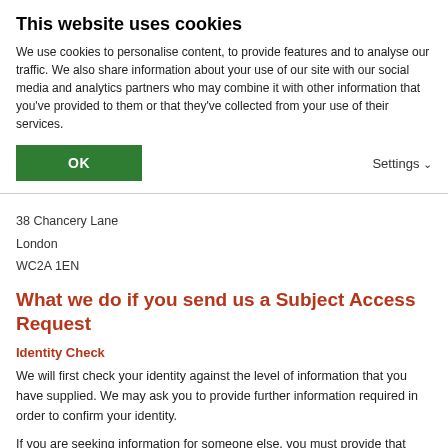This website uses cookies
We use cookies to personalise content, to provide features and to analyse our traffic. We also share information about your use of our site with our social media and analytics partners who may combine it with other information that you've provided to them or that they've collected from your use of their services.
38 Chancery Lane
London
WC2A 1EN
What we do if you send us a Subject Access Request
Identity Check
We will first check your identity against the level of information that you have supplied. We may ask you to provide further information required in order to confirm your identity.
If you are seeking information for someone else, you must provide that individual's consent for the release of their personal information.